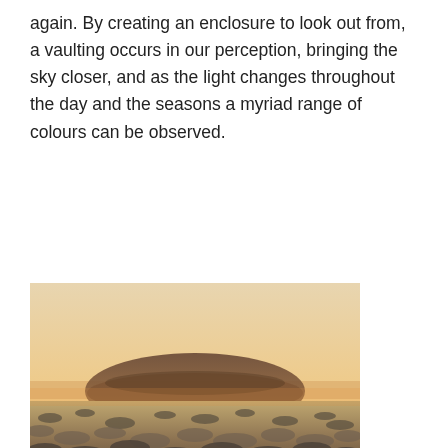again. By creating an enclosure to look out from, a vaulting occurs in our perception, bringing the sky closer, and as the light changes throughout the day and the seasons a myriad range of colours can be observed.
[Figure (photo): Landscape photograph of Roden Crater — a broad volcanic cinder cone rising gently above a wide flat desert plain covered in dry scrubby vegetation, under a warm golden-orange sky at sunset or sunrise.]
James Turrell – Roden Crater
His friend and art collector Count Giuseppe Panza di